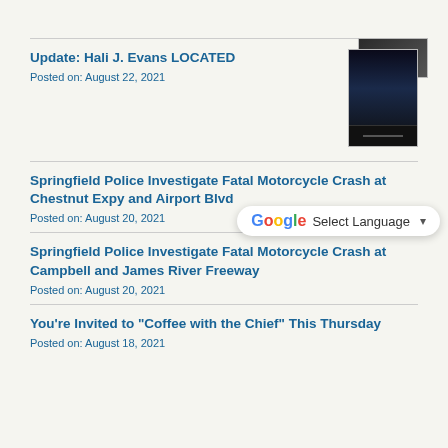[Figure (photo): Thumbnail image of a person, partially visible at top right of page]
Update: Hali J. Evans LOCATED
Posted on: August 22, 2021
[Figure (photo): Dark thumbnail image of a person (Hali J. Evans) with blue tones]
Springfield Police Investigate Fatal Motorcycle Crash at Chestnut Expy and Airport Blvd
Posted on: August 20, 2021
Springfield Police Investigate Fatal Motorcycle Crash at Campbell and James River Freeway
Posted on: August 20, 2021
You're Invited to "Coffee with the Chief" This Thursday
Posted on: August 18, 2021